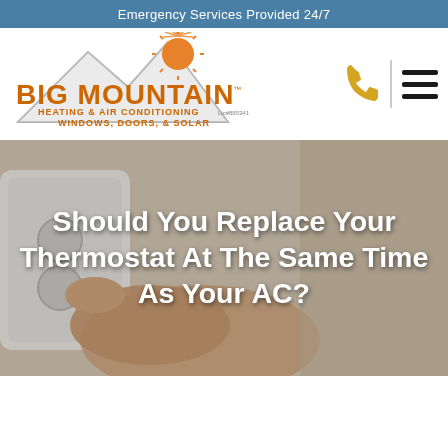Emergency Services Provided 24/7
[Figure (logo): Big Mountain Heating & Air Conditioning, Windows, Doors, & Solar logo with mountain silhouette and sun graphic. License number Lic#885341.]
Should You Replace Your Thermostat At The Same Time As Your AC?
[Figure (photo): Close-up photo of a hand adjusting a white thermostat device mounted on a wall.]